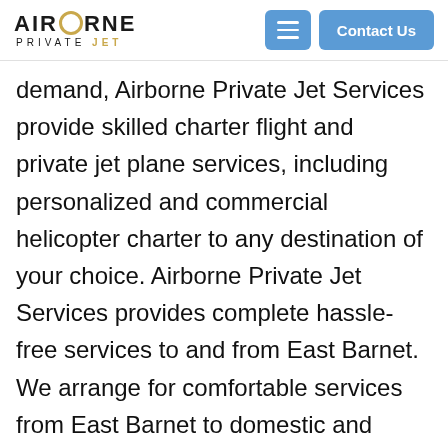AIRBORNE PRIVATE JET — Contact Us
demand, Airborne Private Jet Services provide skilled charter flight and private jet plane services, including personalized and commercial helicopter charter to any destination of your choice. Airborne Private Jet Services provides complete hassle-free services to and from East Barnet. We arrange for comfortable services from East Barnet to domestic and international destinations with our Private Jets, Business Jets, low-cost jets and charter planes with our charter helicopter